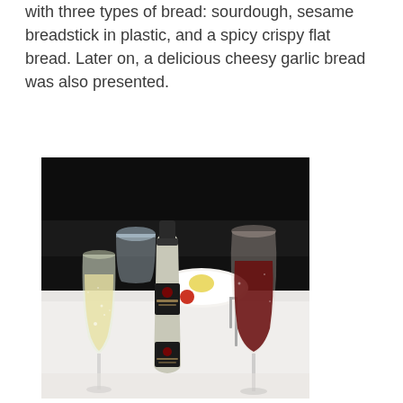with three types of bread: sourdough, sesame breadstick in plastic, and a spicy crispy flat bread. Later on, a delicious cheesy garlic bread was also presented.
[Figure (photo): A restaurant table setting with two wine glasses (one with sparkling white wine, one with red wine) and a small bottle of Rosa Regale Banfi wine, with plates and cutlery in the background.]